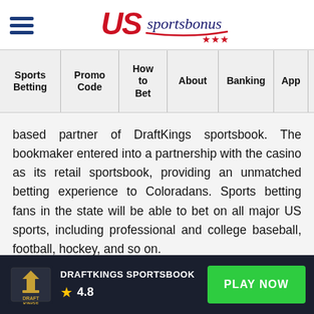US Sportsbonus (logo) with hamburger menu
| Sports Betting | Promo Code | How to Bet | About | Banking | App | COLORADO SPORTS BETTING FAQ |
| --- | --- | --- | --- | --- | --- | --- |
based partner of DraftKings sportsbook. The bookmaker entered into a partnership with the casino as its retail sportsbook, providing an unmatched betting experience to Coloradans. Sports betting fans in the state will be able to bet on all major US sports, including professional and college baseball, football, hockey, and so on.
About DraftKings Sportsbook
DRAFTKINGS SPORTSBOOK ★ 4.8   PLAY NOW